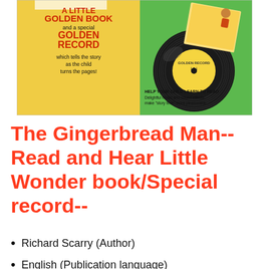[Figure (illustration): Book cover for a Little Golden Book and Golden Record set showing text 'A LITTLE GOLDEN BOOK and a special GOLDEN RECORD which tells the story as the child turns the pages!' on yellow background on the left, and a vinyl record illustration and green background on the right, with small text 'HELP YOUR CHILD LEARN TO READ Delightful music and sound effects make story time more pleasurable' at bottom right.]
The Gingerbread Man-- Read and Hear Little Wonder book/Special record--
Richard Scarry (Author)
English (Publication language)